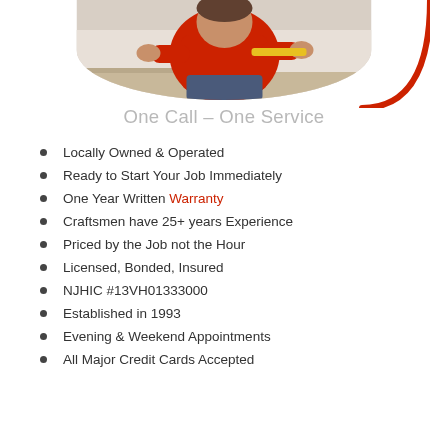[Figure (photo): Man in red shirt kneeling and working, shown in a rounded oval/circle crop at top center of page]
One Call – One Service
Locally Owned & Operated
Ready to Start Your Job Immediately
One Year Written Warranty
Craftsmen have 25+ years Experience
Priced by the Job not the Hour
Licensed, Bonded, Insured
NJHIC #13VH01333000
Established in 1993
Evening & Weekend Appointments
All Major Credit Cards Accepted